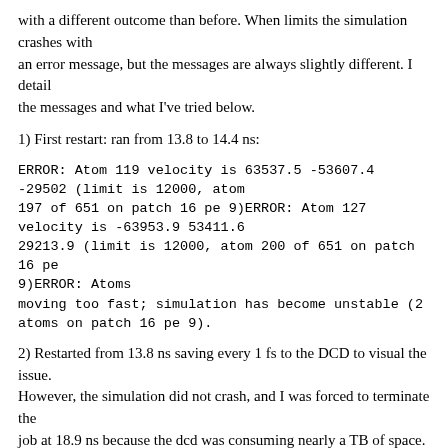with a different outcome than before. When limits the simulation crashes with an error message, but the messages are always slightly different. I detail the messages and what I've tried below.
1) First restart: ran from 13.8 to 14.4 ns:
ERROR: Atom 119 velocity is 63537.5 -53607.4 -29502 (limit is 12000, atom 197 of 651 on patch 16 pe 9)ERROR: Atom 127 velocity is -63953.9 53411.6 29213.9 (limit is 12000, atom 200 of 651 on patch 16 pe 9)ERROR: Atoms moving too fast; simulation has become unstable (2 atoms on patch 16 pe 9).
2) Restarted from 13.8 ns saving every 1 fs to the DCD to visual the issue. However, the simulation did not crash, and I was forced to terminate the job at 18.9 ns because the dcd was consuming nearly a TB of space.
3) Restarted from 13.8 ns saving less frequently, hoping to repeat the